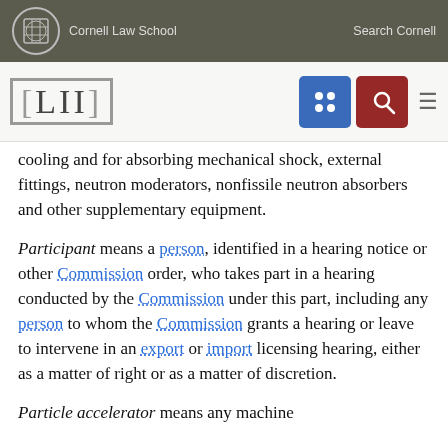Cornell Law School | Search Cornell
cooling and for absorbing mechanical shock, external fittings, neutron moderators, nonfissile neutron absorbers and other supplementary equipment.
Participant means a person, identified in a hearing notice or other Commission order, who takes part in a hearing conducted by the Commission under this part, including any person to whom the Commission grants a hearing or leave to intervene in an export or import licensing hearing, either as a matter of right or as a matter of discretion.
Particle accelerator means any machine